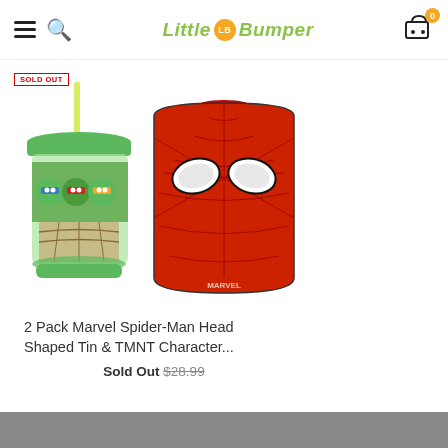Little Bumper — navigation header with hamburger menu, search, logo, and cart (0 items)
[Figure (photo): Product listing showing two items: a TMNT Character Cup with green lid and straw (marked SOLD OUT), and a Marvel Spider-Man Head Shaped Tin lunch box in red with Spider-Man face design.]
2 Pack Marvel Spider-Man Head Shaped Tin & TMNT Character...
Sold Out $28.99
Gray footer bar